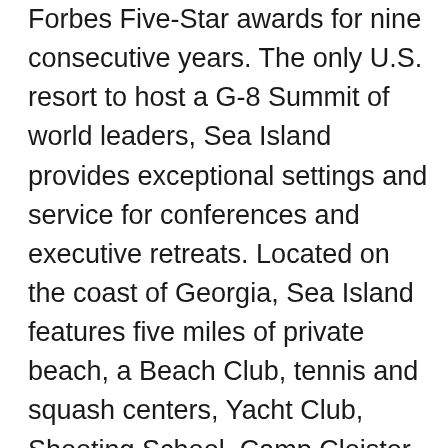Forbes Five-Star awards for nine consecutive years. The only U.S. resort to host a G-8 Summit of world leaders, Sea Island provides exceptional settings and service for conferences and executive retreats. Located on the coast of Georgia, Sea Island features five miles of private beach, a Beach Club, tennis and squash centers, Yacht Club, Shooting School, Camp Cloister, three championship golf courses, including Seaside and Plantation, home of the PGA TOUR's RSM Classic, as well as the nation's finest Golf Performance Center. Guests may also enjoy nearby Broadfield, a Sea Island Sporting Club and Lodge, offering a variety of seasonal hunting, fishing, sporting and organic culinary opportunities. Sea Island entices families, conference attendees,